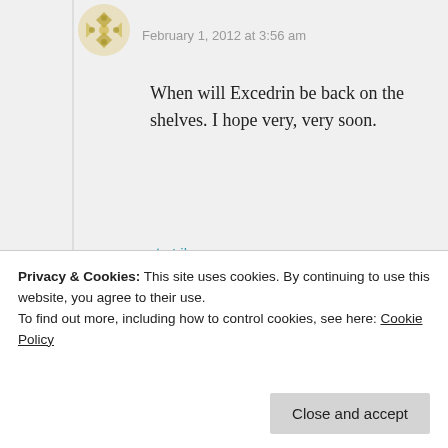February 1, 2012 at 3:56 am
When will Excedrin be back on the shelves. I hope very, very soon.
Like
Reply
m jones
January 23, 2012 at 9:38 pm
Privacy & Cookies: This site uses cookies. By continuing to use this website, you agree to their use. To find out more, including how to control cookies, see here: Cookie Policy
Close and accept
http://www.chicagonow.com/steve-dales-pet-